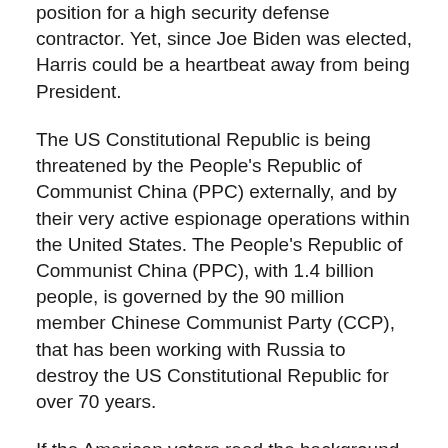position for a high security defense contractor. Yet, since Joe Biden was elected, Harris could be a heartbeat away from being President.
The US Constitutional Republic is being threatened by the People's Republic of Communist China (PPC) externally, and by their very active espionage operations within the United States. The People's Republic of Communist China (PPC), with 1.4 billion people, is governed by the 90 million member Chinese Communist Party (CCP), that has been working with Russia to destroy the US Constitutional Republic for over 70 years.
If the American voters read the background information (in Trevor Loudon's article) on Kamala Harris, they would never support her election as Vice President of the United States. Joe Biden is suffering from the early onset of dementia, will continue to decline in accelerated...